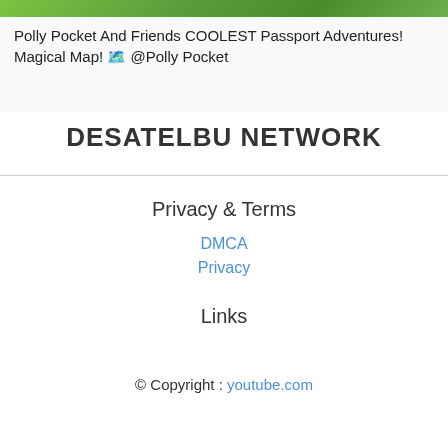[Figure (photo): Green background image strip at the top of the page (partial thumbnail of a Polly Pocket video)]
Polly Pocket And Friends COOLEST Passport Adventures! Magical Map! 🗺️ @Polly Pocket
DESATELBU NETWORK
Privacy & Terms
DMCA
Privacy
Links
© Copyright : youtube.com